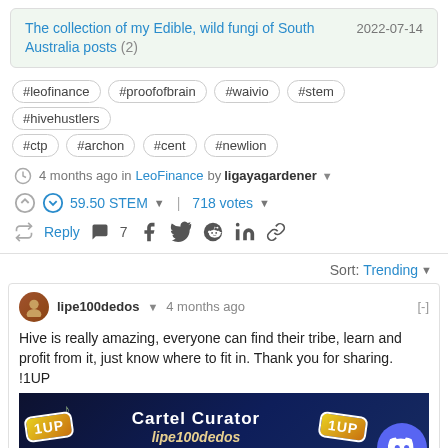The collection of my Edible, wild fungi of South Australia posts (2) — 2022-07-14
#leofinance
#proofofbrain
#waivio
#stem
#hivehustlers
#ctp
#archon
#cent
#newlion
4 months ago in LeoFinance by ligayagardener
59.50 STEM  718 votes
Reply  7
Sort: Trending
lipe100dedos  4 months ago
Hive is really amazing, everyone can find their tribe, learn and profit from it, just know where to fit in. Thank you for sharing.
!1UP
[Figure (illustration): Cartel Curator banner with 1UP branding and lipe100dedos username, dark blue background with decorative elements. Discord button in bottom right.]